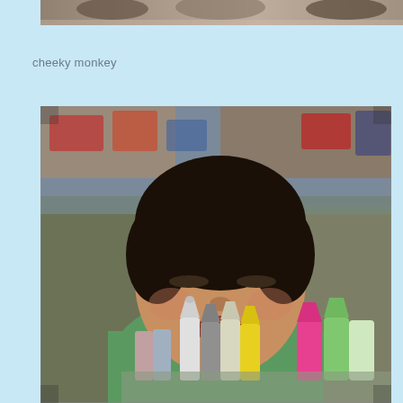[Figure (photo): Partial top strip of a photo showing people, cropped at top of page]
cheeky monkey
[Figure (photo): A young Asian child in a green shirt squinting and smiling with eyes nearly closed, surrounded by colorful paint bottles, in front of a blurred toy store background]